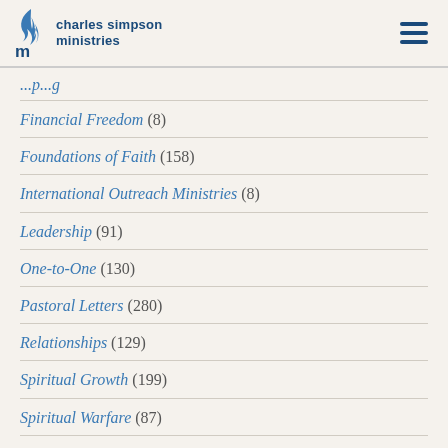charles simpson ministries
Financial Freedom (8)
Foundations of Faith (158)
International Outreach Ministries (8)
Leadership (91)
One-to-One (130)
Pastoral Letters (280)
Relationships (129)
Spiritual Growth (199)
Spiritual Warfare (87)
Stephen Simpson Blog (12)